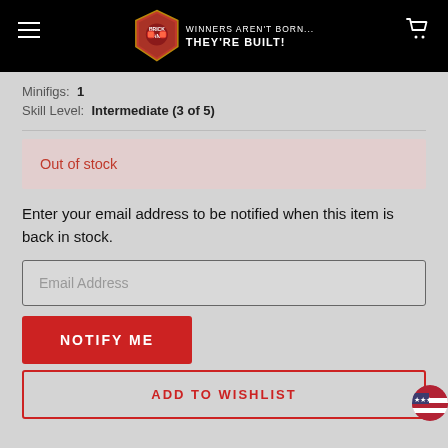[Figure (logo): Brickmania logo with shield badge and tagline WINNERS AREN'T BORN... THEY'RE BUILT!]
Minifigs: 1
Skill Level: Intermediate (3 of 5)
Out of stock
Enter your email address to be notified when this item is back in stock.
Email Address
NOTIFY ME
ADD TO WISHLIST